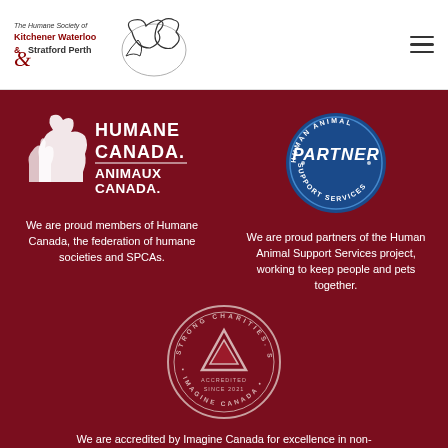[Figure (logo): The Humane Society of Kitchener Waterloo & Stratford Perth logo with animal silhouettes]
[Figure (logo): Humane Canada / Animaux Canada logo with animal silhouettes and text]
[Figure (logo): Human Animal Support Services Partner badge - circular blue badge with PARTNER text]
We are proud members of Humane Canada, the federation of humane societies and SPCAs.
We are proud partners of the Human Animal Support Services project, working to keep people and pets together.
[Figure (logo): Imagine Canada accreditation badge - circular badge with triangle, text: Strong Charities. Strong Communities. Accredited Since 2021. Imagine Canada.]
We are accredited by Imagine Canada for excellence in non-